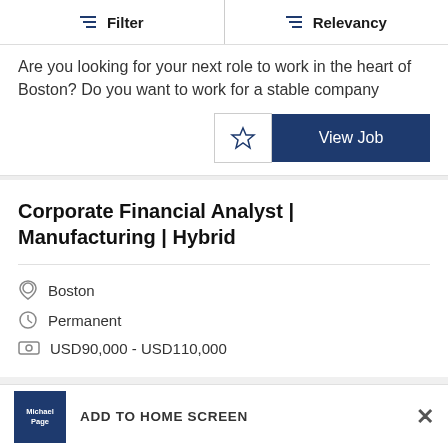Filter | Relevancy
Are you looking for your next role to work in the heart of Boston? Do you want to work for a stable company
Corporate Financial Analyst | Manufacturing | Hybrid
Boston
Permanent
USD90,000 - USD110,000
ADD TO HOME SCREEN